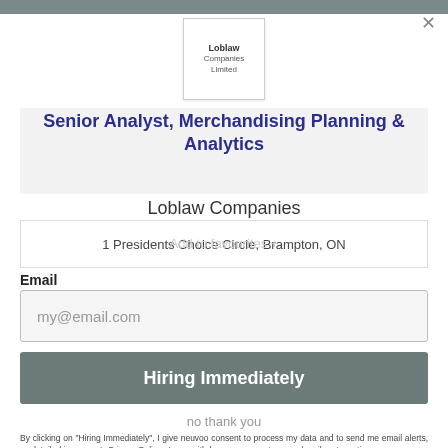[Figure (logo): Loblaw Companies Limited logo in a white bordered box]
Senior Analyst, Merchandising Planning & Analytics
Loblaw Companies
1 Presidents Choice Circle, Brampton, ON
Email
my@email.com
Hiring Immediately
no thank you
By clicking on "Hiring Immediately", I give neuvoo consent to process my data and to send me email alerts, as detailed in neuvoo's Privacy Policy . I may withdraw my consent or unsubscribe at any time.